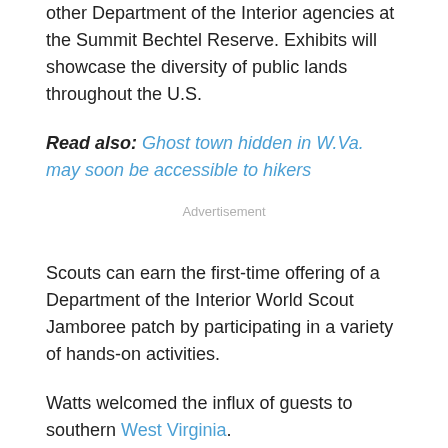other Department of the Interior agencies at the Summit Bechtel Reserve. Exhibits will showcase the diversity of public lands throughout the U.S.
Read also: Ghost town hidden in W.Va. may soon be accessible to hikers
Advertisement
Scouts can earn the first-time offering of a Department of the Interior World Scout Jamboree patch by participating in a variety of hands-on activities.
Watts welcomed the influx of guests to southern West Virginia.
"In this event, we have the opportunity to welcome youth, not